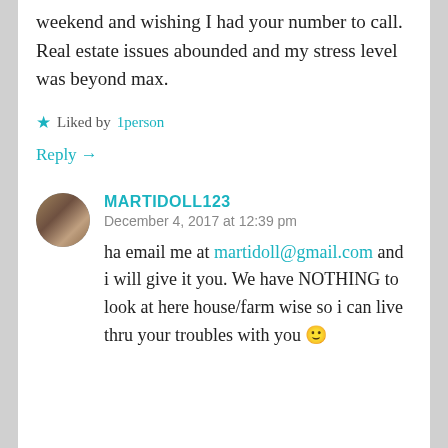weekend and wishing I had your number to call. Real estate issues abounded and my stress level was beyond max.
★ Liked by 1person
Reply →
MARTIDOLL123
December 4, 2017 at 12:39 pm
ha email me at martidoll@gmail.com and i will give it you. We have NOTHING to look at here house/farm wise so i can live thru your troubles with you 🙂